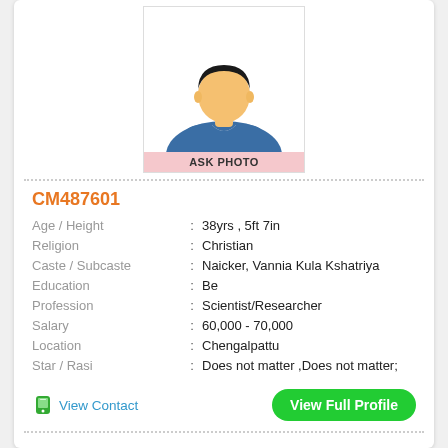[Figure (illustration): Generic male avatar profile photo placeholder with 'ASK PHOTO' label at bottom]
CM487601
| Age / Height | : | 38yrs , 5ft 7in |
| Religion | : | Christian |
| Caste / Subcaste | : | Naicker, Vannia Kula Kshatriya |
| Education | : | Be |
| Profession | : | Scientist/Researcher |
| Salary | : | 60,000 - 70,000 |
| Location | : | Chengalpattu |
| Star / Rasi | : | Does not matter ,Does not matter; |
View Contact
View Full Profile